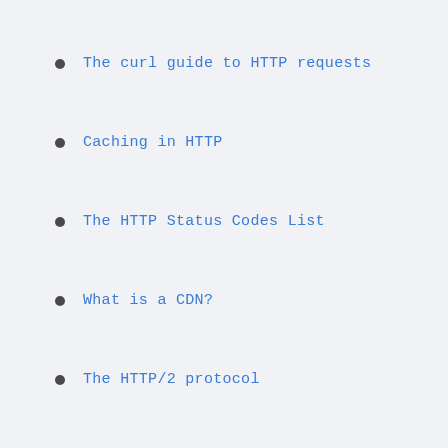The curl guide to HTTP requests
Caching in HTTP
The HTTP Status Codes List
What is a CDN?
The HTTP/2 protocol
What is a port
DNS, Domain Name System